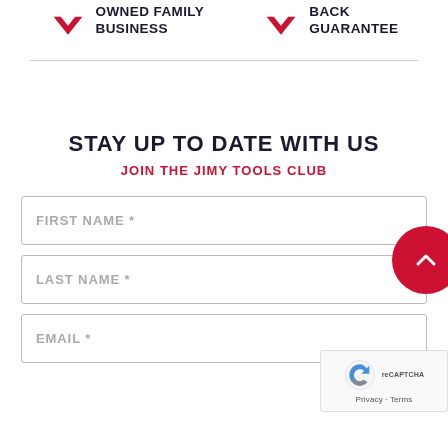[Figure (illustration): Red checkmark icon next to 'OWNED FAMILY BUSINESS' text]
[Figure (illustration): Red checkmark icon next to 'BACK GUARANTEE' text]
STAY UP TO DATE WITH US
JOIN THE JIMY TOOLS CLUB
FIRST NAME *
LAST NAME *
EMAIL *